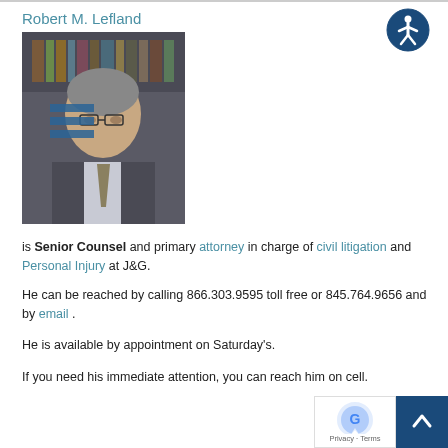Robert M. Lefland
[Figure (photo): Professional headshot of Robert M. Lefland, a middle-aged man in a suit with a tie, bookshelves in background]
is Senior Counsel and primary attorney in charge of civil litigation and Personal Injury at J&G.
He can be reached by calling 866.303.9595 toll free or 845.764.9656 and by email .
He is available by appointment on Saturday's.
If you need his immediate attention, you can reach him on cell.